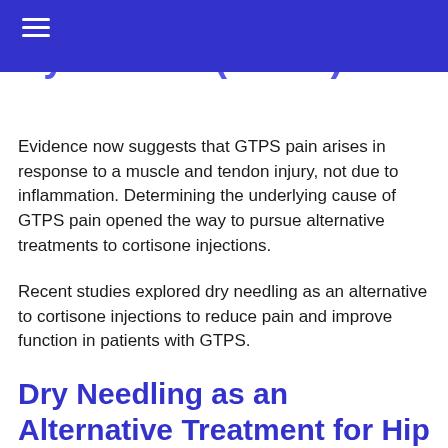Syndrome (GTPS)
Evidence now suggests that GTPS pain arises in response to a muscle and tendon injury, not due to inflammation. Determining the underlying cause of GTPS pain opened the way to pursue alternative treatments to cortisone injections.
Recent studies explored dry needling as an alternative to cortisone injections to reduce pain and improve function in patients with GTPS.
Dry Needling as an Alternative Treatment for Hip Pain
Recent studies show that patients with GTPS can get similar results from dry needling as a